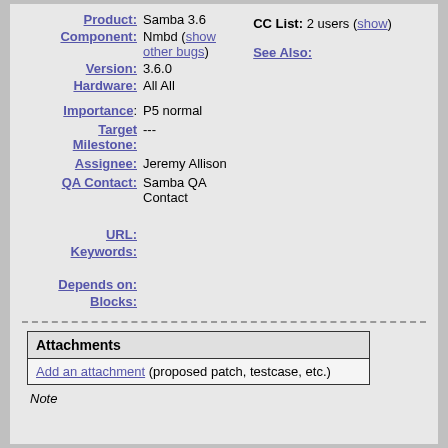Product: Samba 3.6
Component: Nmbd (show other bugs)
Version: 3.6.0
Hardware: All All
CC List: 2 users (show)
See Also:
Importance: P5 normal
Target Milestone: ---
Assignee: Jeremy Allison
QA Contact: Samba QA Contact
URL:
Keywords:
Depends on:
Blocks:
| Attachments |
| --- |
| Add an attachment (proposed patch, testcase, etc.) |
Note